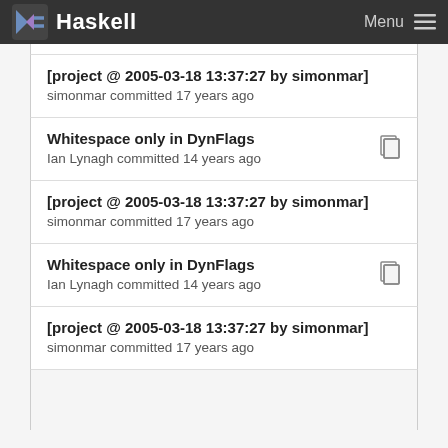Haskell  Menu
[project @ 2005-03-18 13:37:27 by simonmar]
simonmar committed 17 years ago
Whitespace only in DynFlags
Ian Lynagh committed 14 years ago
[project @ 2005-03-18 13:37:27 by simonmar]
simonmar committed 17 years ago
Whitespace only in DynFlags
Ian Lynagh committed 14 years ago
[project @ 2005-03-18 13:37:27 by simonmar]
simonmar committed 17 years ago